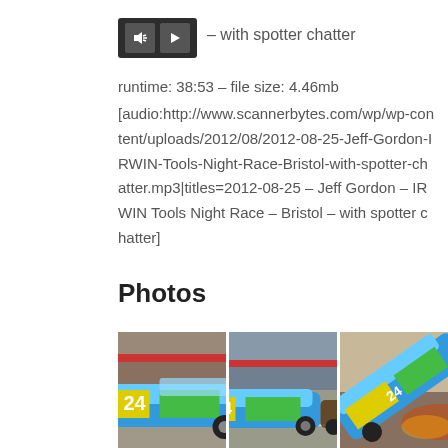[Figure (screenshot): Audio player widget with volume/speaker button and play button on dark background]
– with spotter chatter
runtime: 38:53  –  file size: 4.46mb
[audio:http://www.scannerbytes.com/wp/wp-content/uploads/2012/08/2012-08-25-Jeff-Gordon-IRWIN-Tools-Night-Race-Bristol-with-spotter-chatter.mp3|titles=2012-08-25 – Jeff Gordon – IRWIN Tools Night Race – Bristol – with spotter chatter]
Photos
[Figure (photo): NASCAR #24 Jeff Gordon race car on Bristol Motor Speedway track, close-up side view]
[Figure (photo): NASCAR #24 Jeff Gordon race car on Bristol Motor Speedway track, mid-distance view]
[Figure (photo): NASCAR #24 Jeff Gordon race car airborne or at angle during crash/incident at Bristol]